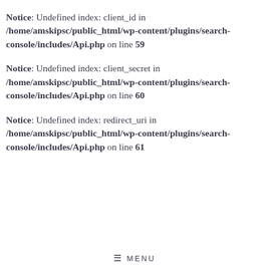Notice: Undefined index: client_id in /home/amskipsc/public_html/wp-content/plugins/search-console/includes/Api.php on line 59
Notice: Undefined index: client_secret in /home/amskipsc/public_html/wp-content/plugins/search-console/includes/Api.php on line 60
Notice: Undefined index: redirect_uri in /home/amskipsc/public_html/wp-content/plugins/search-console/includes/Api.php on line 61
≡ MENU